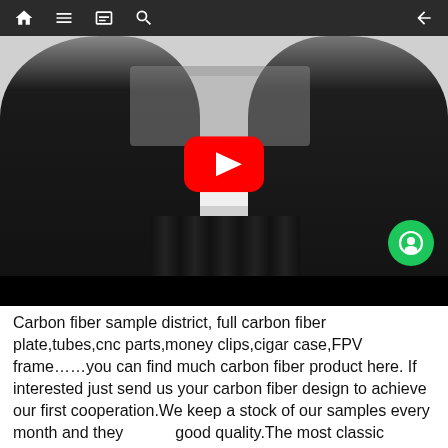Navigation bar with home, menu, bookmark, search, and back icons
[Figure (screenshot): Video thumbnail showing two men in business attire examining a carbon fiber drone/FPV frame, with shelving of drone parts in the background. A YouTube play button overlay is visible in the center of the image.]
Carbon fiber sample district, full carbon fiber plate,tubes,cnc parts,money clips,cigar case,FPV frame……you can find much carbon fiber product here. If interested just send us your carbon fiber design to achieve our first cooperation.We keep a stock of our samples every month and they are good quality.The most classic sample color is black matte, and most people like this surface. But if you're fond of